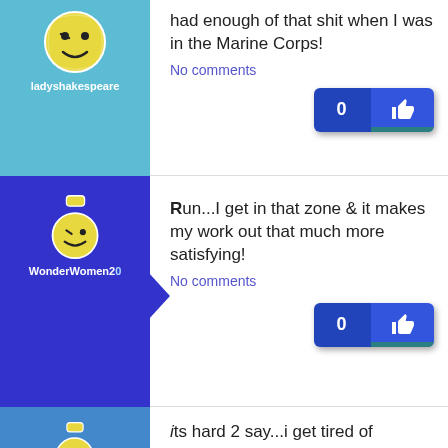had enough of that shit when I was in the Marine Corps!
No comments
Run...I get in that zone & it makes my work out that much more satisfying!
No comments
its hard 2 say...i get tired of running & training, bcuz i do both, so i'd haf 2 rotate on a